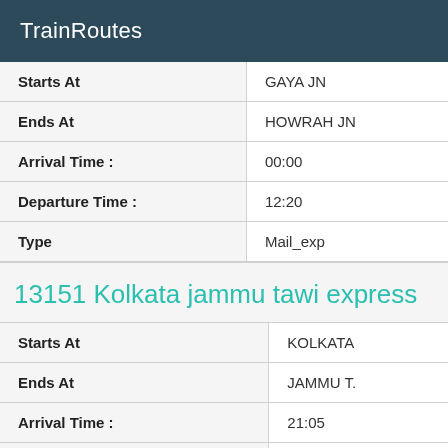TrainRoutes
| Starts At | GAYA JN |
| Ends At | HOWRAH JN |
| Arrival Time : | 00:00 |
| Departure Time : | 12:20 |
| Type | Mail_exp |
13151 Kolkata jammu tawi express
| Starts At | KOLKATA |
| Ends At | JAMMU T. |
| Arrival Time : | 21:05 |